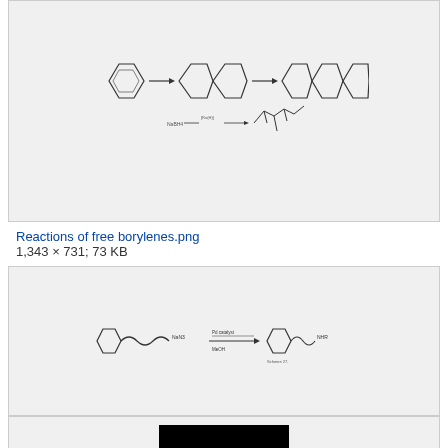[Figure (schematic): Chemical reaction diagram showing reactions of free borylenes with structural formulas and arrows]
Reactions of free borylenes.png
1,343 × 731; 73 KB
[Figure (schematic): Chemical reaction diagram for Sintesis por microondas showing molecular structures with reaction arrow]
Sintesis por microondas.jpg
928 × 156; 24 KB
[Figure (photo): Third image box partially visible at bottom of page with a black rectangular element visible]